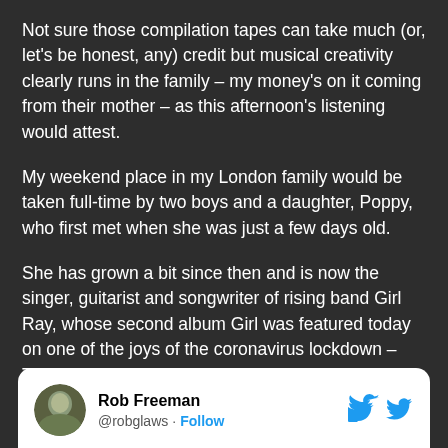Not sure those compilation tapes can take much (or, let's be honest, any) credit but musical creativity clearly runs in the family – my money's on it coming from their mother – as this afternoon's listening would attest.
My weekend place in my London family would be taken full-time by two boys and a daughter, Poppy, who first met when she was just a few days old.
She has grown a bit since then and is now the singer, guitarist and songwriter of rising band Girl Ray, whose second album Girl was featured today on one of the joys of the coronavirus lockdown – Tim's Twitter Listening Parties.
[Figure (screenshot): Twitter/X card showing user Rob Freeman (@robglaws) with a Follow button and the Twitter bird logo, on a white card with rounded corners.]